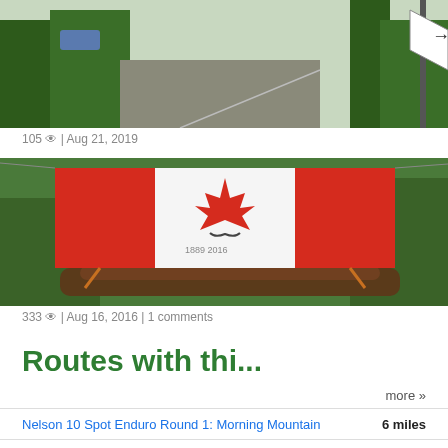[Figure (photo): Outdoor scene with trees, road, and road signs visible at top of page]
105 👁 | Aug 21, 2019
[Figure (photo): Canadian flag with a mustache drawn on the maple leaf and text '1889 2016', hung outdoors among trees with logs below]
333 👁 | Aug 16, 2016 | 1 comments
Routes with thi...
more »
Nelson 10 Spot Enduro Round 1: Morning Mountain    6 miles
Morning Powerplays    16 miles